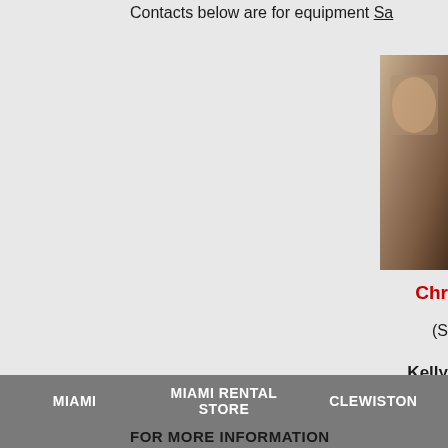Contacts below are for equipment Sa
[Figure (photo): Partial photo visible at top right corner, appears to be a person or equipment, cropped]
Chr
(S
Kelly
8
M
Christopher_
Ce
Dire
Fa
MIAMI    MIAMI RENTAL STORE    CLEWISTON
FOR MORE INFORMATION